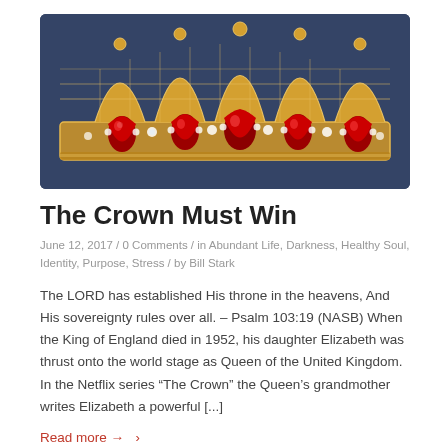[Figure (photo): Close-up photograph of a gold and jeweled crown with red gemstones and white crystals against a dark blue-grey background.]
The Crown Must Win
June 12, 2017  /  0 Comments  /  in Abundant Life, Darkness, Healthy Soul, Identity, Purpose, Stress  /  by Bill Stark
The LORD has established His throne in the heavens, And His sovereignty rules over all. – Psalm 103:19 (NASB) When the King of England died in 1952, his daughter Elizabeth was thrust onto the world stage as Queen of the United Kingdom.   In the Netflix series “The Crown” the Queen’s grandmother writes Elizabeth a powerful [...]
Read more →  >